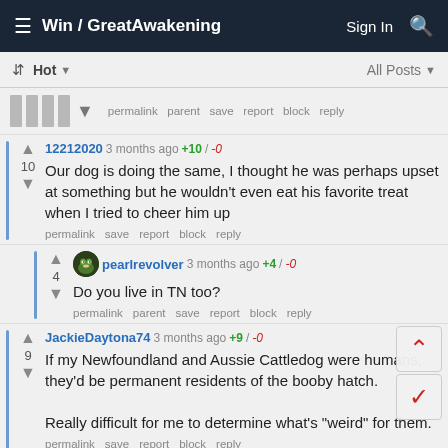≡ Win / GreatAwakening   Sign In 🔍
↕ Hot ▾   All Posts ▾
permalink  parent  save  report  block  reply
12212020 3 months ago +10 / -0
10
Our dog is doing the same, I thought he was perhaps upset at something but he wouldn't even eat his favorite treat when I tried to cheer him up
permalink  save  report  block  reply
pearlrevolver 3 months ago +4 / -0
4
Do you live in TN too?
permalink  parent  save  report  block  reply
JackieDaytona74 3 months ago +9 / -0
9
If my Newfoundland and Aussie Cattledog were humans, they'd be permanent residents of the booby hatch.
Really difficult for me to determine what's "weird" for them.
permalink  save  report  block  reply